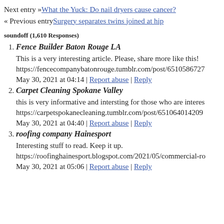Next entry »What the Yuck: Do nail dryers cause cancer?
« Previous entrySurgery separates twins joined at hip
soundoff (1,610 Responses)
1. Fence Builder Baton Rouge LA
This is a very interesting article. Please, share more like this!
https://fencecompanybatonrouge.tumblr.com/post/6510586727...
May 30, 2021 at 04:14 | Report abuse | Reply
2. Carpet Cleaning Spokane Valley
this is very informative and intersting for those who are interes...
https://carpetspokanecleaning.tumblr.com/post/651064014209...
May 30, 2021 at 04:40 | Report abuse | Reply
3. roofing company Hainesport
Interesting stuff to read. Keep it up.
https://roofinghainesport.blogspot.com/2021/05/commercial-ro...
May 30, 2021 at 05:06 | Report abuse | Reply